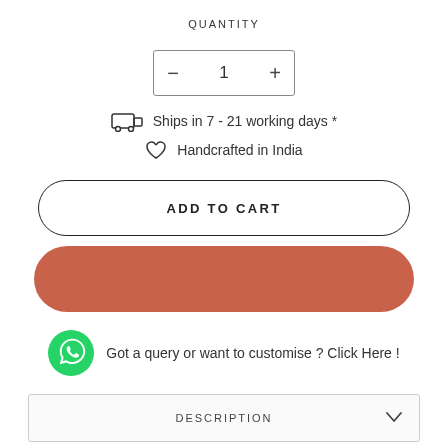QUANTITY
[Figure (other): Quantity selector with minus button, number 1, and plus button inside a bordered rectangle]
Ships in 7 - 21 working days *
Handcrafted in India
[Figure (other): ADD TO CART button with rounded pill border]
[Figure (other): Terracotta/red rounded pill button (Buy Now)]
Got a query or want to customise ? Click Here !
DESCRIPTION